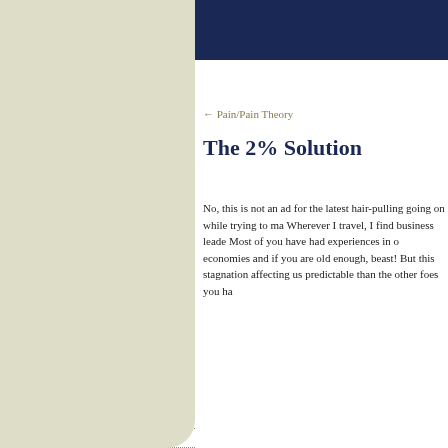[Figure (logo): Crystal Clear The Accelerators logo with olive-green stylized C/W emblem and dark blue text]
HOME
ABOUT US
PHILOSOPHY
APPROACH
SOLUTIONS
COACHING
CLIENTS
TESTIMONIALS
READINGS
CLEARTIPS
BLOG
CURRE
← Pain/Pain Theory
The 2% Solution
No, this is not an ad for the latest hair-pulling going on while trying to ma Wherever I travel, I find business leade Most of you have had experiences in o economies and if you are old enough, beast! But this stagnation affecting us predictable than the other foes you ha